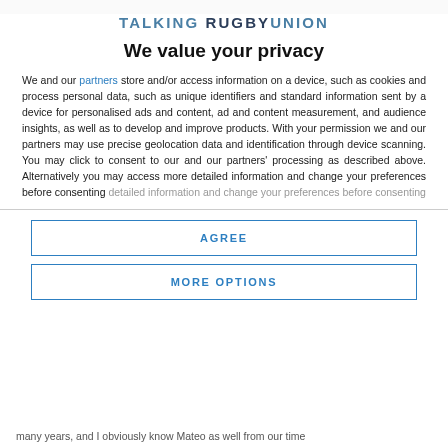TALKING RUGBY UNION
We value your privacy
We and our partners store and/or access information on a device, such as cookies and process personal data, such as unique identifiers and standard information sent by a device for personalised ads and content, ad and content measurement, and audience insights, as well as to develop and improve products. With your permission we and our partners may use precise geolocation data and identification through device scanning. You may click to consent to our and our partners' processing as described above. Alternatively you may access more detailed information and change your preferences before consenting
AGREE
MORE OPTIONS
many years, and I obviously know Mateo as well from our time